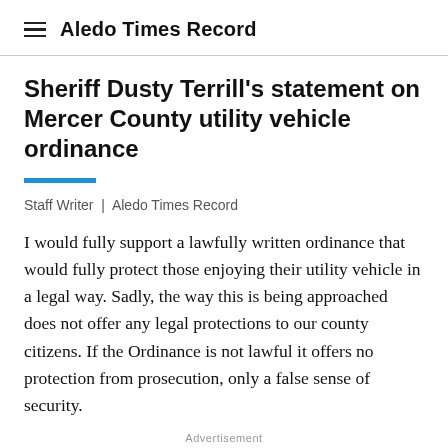Aledo Times Record
Sheriff Dusty Terrill's statement on Mercer County utility vehicle ordinance
Staff Writer | Aledo Times Record
I would fully support a lawfully written ordinance that would fully protect those enjoying their utility vehicle in a legal way. Sadly, the way this is being approached does not offer any legal protections to our county citizens. If the Ordinance is not lawful it offers no protection from prosecution, only a false sense of security.
Advertisement